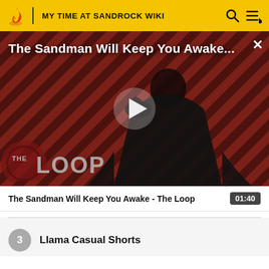MY TIME AT SANDROCK WIKI
[Figure (screenshot): Video thumbnail for 'The Sandman Will Keep You Awake - The Loop' showing a dark-robed figure on a diagonal striped red/dark background with THE LOOP logo and a play button overlay]
The Sandman Will Keep You Awake - The Loop  01:40
3  Llama Casual Shorts